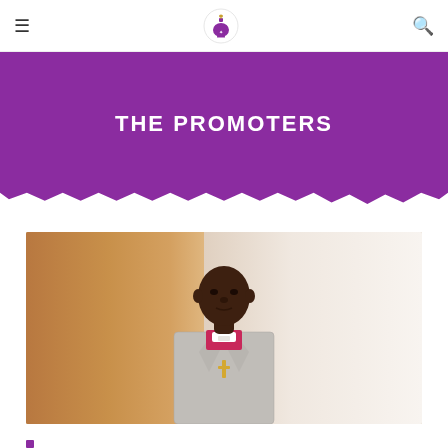Navigation bar with hamburger menu, church logo, and search icon
THE PROMOTERS
[Figure (photo): Portrait photo of a man wearing bishop vestments (red/magenta shirt with white collar piece) and a grey plaid blazer, standing in front of warm orange/gold curtains with a light background on the right side.]